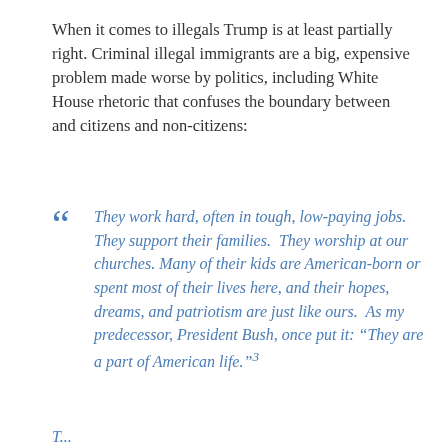When it comes to illegals Trump is at least partially right. Criminal illegal immigrants are a big, expensive problem made worse by politics, including White House rhetoric that confuses the boundary between and citizens and non-citizens:
" They work hard, often in tough, low-paying jobs. They support their families. They worship at our churches. Many of their kids are American-born or spent most of their lives here, and their hopes, dreams, and patriotism are just like ours. As my predecessor, President Bush, once put it: "They are a part of American life."³
T...